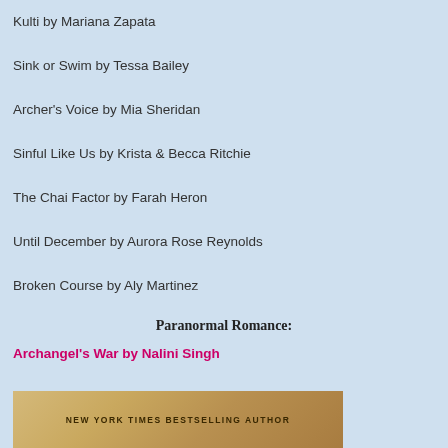Kulti by Mariana Zapata
Sink or Swim by Tessa Bailey
Archer's Voice by Mia Sheridan
Sinful Like Us by Krista & Becca Ritchie
The Chai Factor by Farah Heron
Until December by Aurora Rose Reynolds
Broken Course by Aly Martinez
Paranormal Romance:
Archangel's War by Nalini Singh
[Figure (photo): Bottom portion of a book cover showing 'NEW YORK TIMES BESTSELLING AUTHOR' text on a golden/tan background]